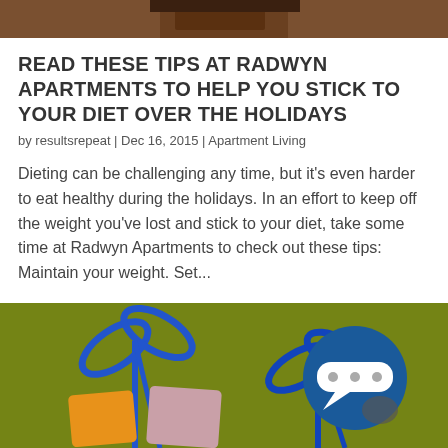[Figure (photo): Top portion of a person's face/head, cropped photo at the top of the page]
READ THESE TIPS AT RADWYN APARTMENTS TO HELP YOU STICK TO YOUR DIET OVER THE HOLIDAYS
by resultsrepeat | Dec 16, 2015 | Apartment Living
Dieting can be challenging any time, but it's even harder to eat healthy during the holidays. In an effort to keep off the weight you've lost and stick to your diet, take some time at Radwyn Apartments to check out these tips: Maintain your weight. Set...
[Figure (photo): Photo of colorful felt gift tags (orange and pink) tied with blue ribbon bows on an olive/green background, with a chat bubble icon overlay in the bottom right corner]